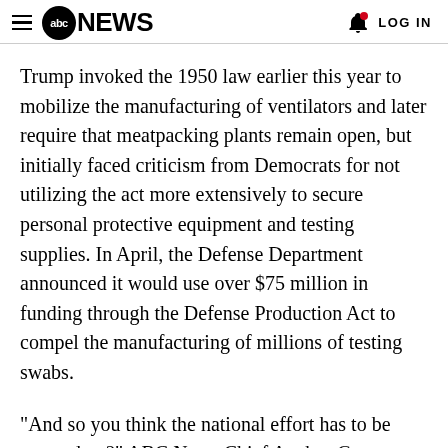abc NEWS  LOG IN
Trump invoked the 1950 law earlier this year to mobilize the manufacturing of ventilators and later require that meatpacking plants remain open, but initially faced criticism from Democrats for not utilizing the act more extensively to secure personal protective equipment and testing supplies. In April, the Defense Department announced it would use over $75 million in funding through the Defense Production Act to compel the manufacturing of millions of testing swabs.
"And so you think the national effort has to be stepped up?" ABC News Chief Anchor George